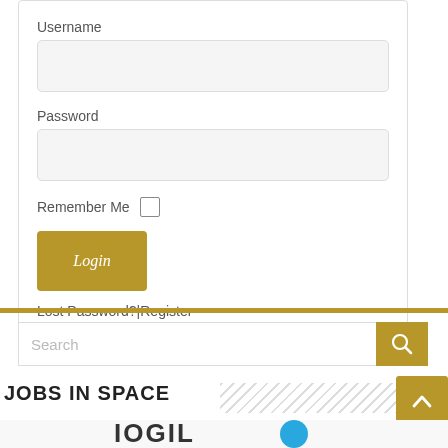Username
[Figure (screenshot): Username text input field (empty, light gray background)]
Password
[Figure (screenshot): Password text input field (empty, light gray background)]
Remember Me
[Figure (screenshot): Login button (golden/olive color) and Lost Password?|Register links]
[Figure (screenshot): Search bar with golden search button]
JOBS IN SPACE
[Figure (logo): Partial logo visible at bottom of page with blue circular element]